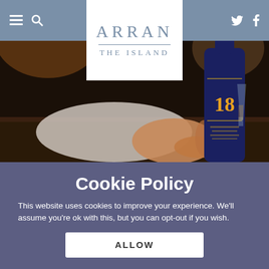ARRAN THE ISLAND — navigation header with hamburger, search, Twitter and Facebook icons
[Figure (photo): Close-up photo of a hand holding a bottle of Arran 18 year old Scotch Whisky on a bar counter with a glass in the background]
Cookie Policy
This website uses cookies to improve your experience. We'll assume you're ok with this, but you can opt-out if you wish.
ALLOW